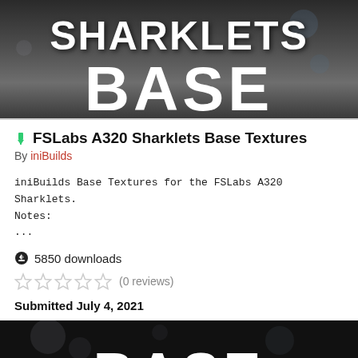[Figure (photo): Dark grey background image with bold white text reading SHARKLETS BASE]
FSLabs A320 Sharklets Base Textures
By iniBuilds
iniBuilds Base Textures for the FSLabs A320 Sharklets.
Notes:
...
5850 downloads
(0 reviews)
Submitted July 4, 2021
[Figure (photo): Dark image with white BASE text partially visible at bottom, bokeh lights visible]